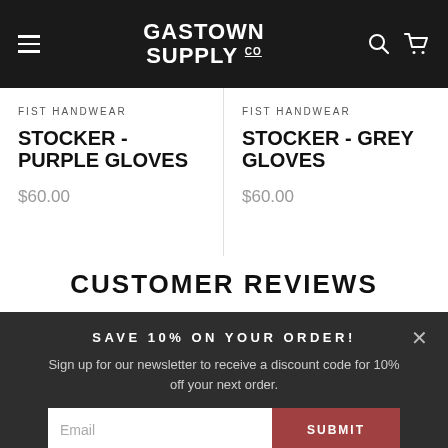GASTOWN SUPPLY CO
FIST HANDWEAR
STOCKER - PURPLE GLOVES
$60.00
FIST HANDWEAR
STOCKER - GREY GLOVES
$60.00
CUSTOMER REVIEWS
SAVE 10% ON YOUR ORDER!
Sign up for our newsletter to receive a discount code for 10% off your next order.